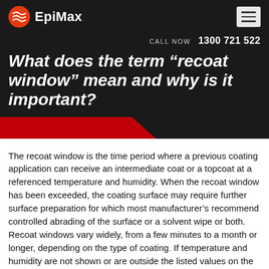EpiMax
CALL NOW  1300 721 522
What does the term “recoat window” mean and why is it important?
The recoat window is the time period where a previous coating application can receive an intermediate coat or a topcoat at a referenced temperature and humidity. When the recoat window has been exceeded, the coating surface may require further surface preparation for which most manufacturer’s recommend controlled abrading of the surface or a solvent wipe or both. Recoat windows vary widely, from a few minutes to a month or longer, depending on the type of coating. If temperature and humidity are not shown or are outside the listed values on the manufacturer’s instructions, the coating manufacturer should be consulted.